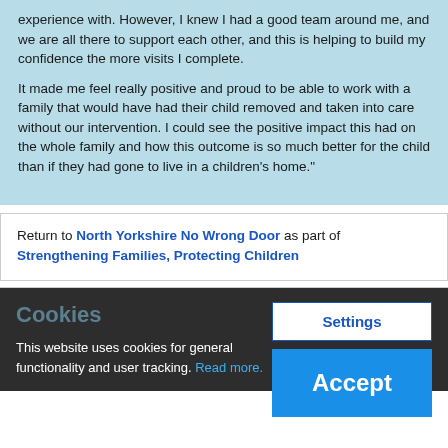experience with. However, I knew I had a good team around me, and we are all there to support each other, and this is helping to build my confidence the more visits I complete.
It made me feel really positive and proud to be able to work with a family that would have had their child removed and taken into care without our intervention. I could see the positive impact this had on the whole family and how this outcome is so much better for the child than if they had gone to live in a children's home."
Return to North Yorkshire No Wrong Door as part of Strengthening Families, Protecting Children
Cookies
This website uses cookies for general functionality and user tracking. Read more.